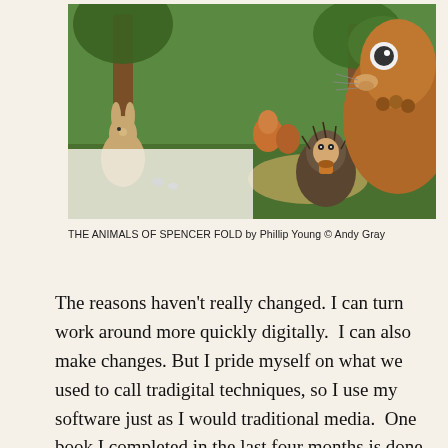[Figure (illustration): Illustrated scene from 'The Animals of Spencer Fold' showing woodland animals including a rabbit, hedgehog, squirrel, and birds in a forest setting with warm, detailed painterly style.]
THE ANIMALS OF SPENCER FOLD by Phillip Young © Andy Gray
The reasons haven't really changed. I can turn work around more quickly digitally.  I can also make changes. But I pride myself on what we used to call tradigital techniques, so I use my software just as I would traditional media.  One book I completed in the last four months is done completely in ball point pen!